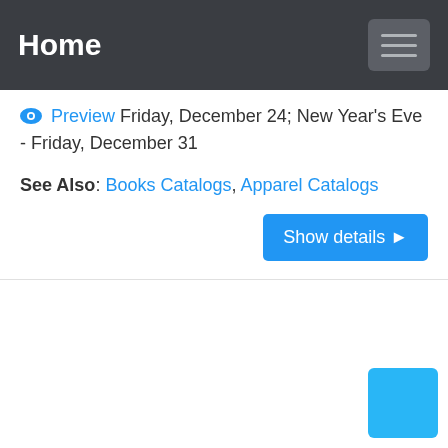Home
Preview  Friday, December 24; New Year's Eve - Friday, December 31
See Also: Books Catalogs, Apparel Catalogs
Show details ▶